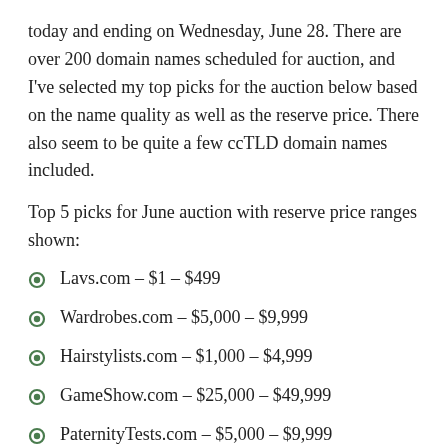today and ending on Wednesday, June 28. There are over 200 domain names scheduled for auction, and I've selected my top picks for the auction below based on the name quality as well as the reserve price. There also seem to be quite a few ccTLD domain names included.
Top 5 picks for June auction with reserve price ranges shown:
Lavs.com – $1 – $499
Wardrobes.com – $5,000 – $9,999
Hairstylists.com – $1,000 – $4,999
GameShow.com – $25,000 – $49,999
PaternityTests.com – $5,000 – $9,999
Ironically, a couple of months ago, I made an offer to the owner of a domain name in the Sedo auction (not going to mention which one) which is right in the reserve price range. The owner declined, but I never received a follow up email informing me...